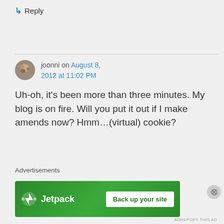↳ Reply
joonni on August 8, 2012 at 11:02 PM
Uh-oh, it's been more than three minutes. My blog is on fire. Will you put it out if I make amends now? Hmm…(virtual) cookie?
Advertisements
[Figure (other): Jetpack advertisement banner with logo and 'Back up your site' button on green background]